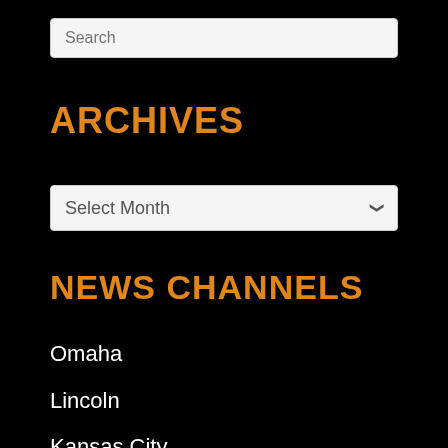Search
ARCHIVES
Select Month
NEWS CHANNELS
Omaha
Lincoln
Kansas City
Des Moines, Ames and Greater Iowa